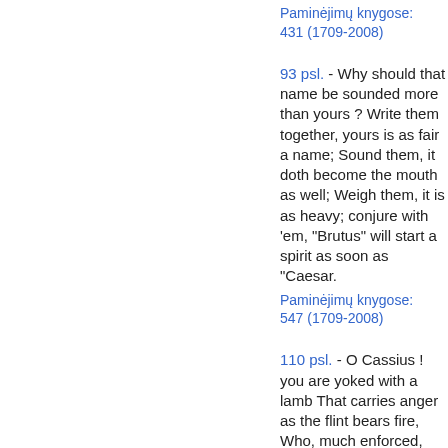Paminėjimų knygose: 431 (1709-2008)
93 psl. - Why should that name be sounded more than yours ? Write them together, yours is as fair a name; Sound them, it doth become the mouth as well; Weigh them, it is as heavy; conjure with 'em, "Brutus" will start a spirit as soon as "Caesar.
Paminėjimų knygose: 547 (1709-2008)
110 psl. - O Cassius ! you are yoked with a lamb That carries anger as the flint bears fire, Who, much enforced, shows a hasty spark,